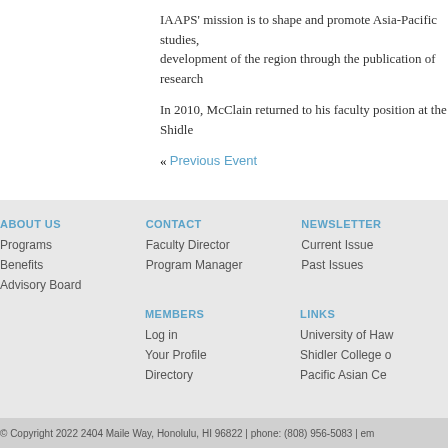IAAPS' mission is to shape and promote Asia-Pacific studies, development of the region through the publication of research
In 2010, McClain returned to his faculty position at the Shidler
« Previous Event
ABOUT US
Programs
Benefits
Advisory Board
CONTACT
Faculty Director
Program Manager
NEWSLETTER
Current Issue
Past Issues
MEMBERS
Log in
Your Profile
Directory
LINKS
University of Haw
Shidler College o
Pacific Asian Ce
© Copyright 2022 2404 Maile Way, Honolulu, HI 96822 | phone: (808) 956-5083 | em